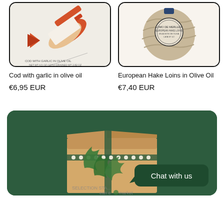[Figure (photo): Product image of Cod with garlic in olive oil - decorative tin can with fish illustration]
[Figure (photo): Product image of European Hake Loins in Olive Oil - round wrapped package with label]
Cod with garlic in olive oil
€6,95 EUR
European Hake Loins in Olive Oil
€7,40 EUR
[Figure (photo): Green banner with a cardboard gift box decorated with tropical leaves and a green ribbon, with chat bubble saying 'Chat with us']